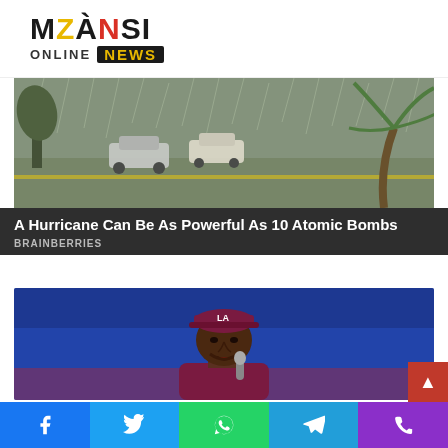MZANSI ONLINE NEWS
[Figure (photo): Storm scene showing cars in a parking lot with strong winds bending palm trees and heavy rain]
A Hurricane Can Be As Powerful As 10 Atomic Bombs
BRAINBERRIES
[Figure (photo): Man wearing a maroon LA Dodgers cap and maroon shirt speaking into a microphone, blue background]
Facebook Twitter WhatsApp Telegram Phone social share buttons